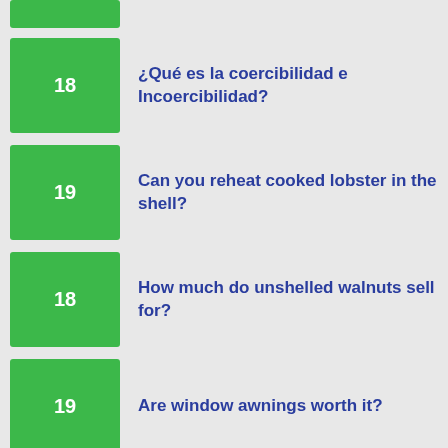18 ¿Qué es la coercibilidad e Incoercibilidad?
19 Can you reheat cooked lobster in the shell?
18 How much do unshelled walnuts sell for?
19 Are window awnings worth it?
18 How many lights can you put on one track?
18 How do I setup a static IP address on my BT Home Hub?
38 How do I transplant a hydrangea?
How do I update my Arris router firmware?